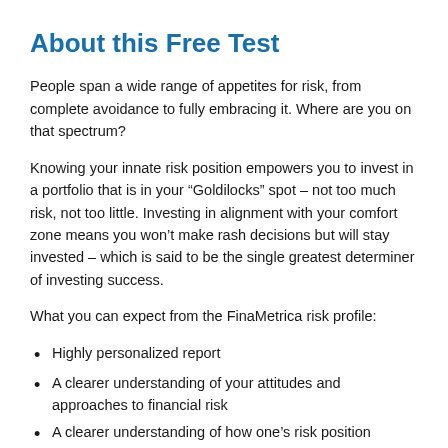About this Free Test
People span a wide range of appetites for risk, from complete avoidance to fully embracing it. Where are you on that spectrum?
Knowing your innate risk position empowers you to invest in a portfolio that is in your “Goldilocks” spot – not too much risk, not too little. Investing in alignment with your comfort zone means you won’t make rash decisions but will stay invested – which is said to be the single greatest determiner of investing success.
What you can expect from the FinaMetrica risk profile:
Highly personalized report
A clearer understanding of your attitudes and approaches to financial risk
A clearer understanding of how one’s risk position